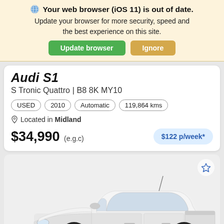Your web browser (iOS 11) is out of date. Update your browser for more security, speed and the best experience on this site.
Update browser | Ignore
Audi S1
S Tronic Quattro | B8 8K MY10
USED | 2010 | Automatic | 119,864 kms
Located in Midland
$34,990 (e.g.c)
$122 p/week*
[Figure (photo): Partial view of a white utility/sedan car (likely Holden or Ford) photographed from the front-left angle on a light grey background]